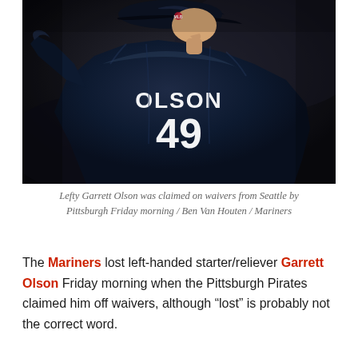[Figure (photo): A baseball pitcher wearing a navy blue Seattle Mariners jersey with 'OLSON 49' on the back, photographed from behind as he winds up to pitch. The player wears a dark cap and the photo has a dark blurred background.]
Lefty Garrett Olson was claimed on waivers from Seattle by Pittsburgh Friday morning / Ben Van Houten / Mariners
The Mariners lost left-handed starter/reliever Garrett Olson Friday morning when the Pittsburgh Pirates claimed him off waivers, although “lost is probably not the correct word.